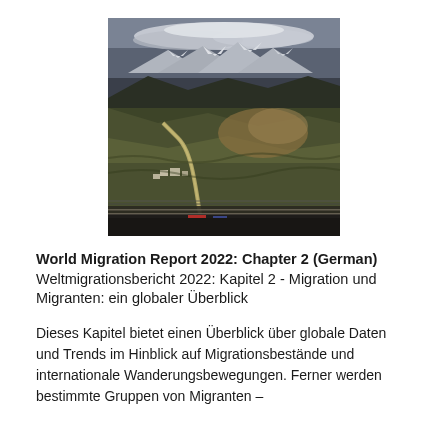[Figure (photo): Aerial photograph of a mountainous landscape with winding roads, valleys, and dramatic cloudy sky above snowy mountain peaks in the distance.]
World Migration Report 2022: Chapter 2 (German) Weltmigrationsbericht 2022: Kapitel 2 - Migration und Migranten: ein globaler Überblick
Dieses Kapitel bietet einen Überblick über globale Daten und Trends im Hinblick auf Migrationsbestände und internationale Wanderungsbewegungen. Ferner werden bestimmte Gruppen von Migranten –